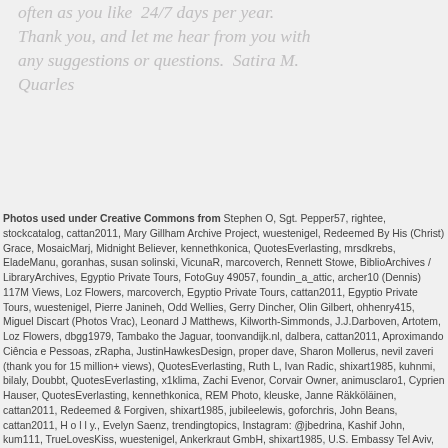often as you like  24/7 days per year.  Thank you, and let me hear from you with any suggestions or questions.  Satira M. Quarles
Photos used under Creative Commons from Stephen O, Sgt. Pepper57, rightee, stockcatalog, cattan2011, Mary Gillham Archive Project, wuestenigel, Redeemed By His (Christ) Grace, MosaicMarj, Midnight Believer, kennethkonica, QuotesEverlasting, mrsdkrebs, EladeManu, goranhas, susan solinski, VicunaR, marcoverch, Rennett Stowe, BiblioArchives / LibraryArchives, Egyptio Private Tours, FotoGuy 49057, foundin_a_attic, archer10 (Dennis) 117M Views, Loz Flowers, marcoverch, Egyptio Private Tours, cattan2011, Egyptio Private Tours, wuestenigel, Pierre Janineh, Odd Wellies, Gerry Dincher, Olin Gilbert, ohhenry415, Miguel Discart (Photos Vrac), Leonard J Matthews, Kilworth-Simmonds, J.J.Darboven, Artotem, Loz Flowers, dbgg1979, Tambako the Jaguar, toonvandijk.nl, dalbera, cattan2011, Aproximando Ciência e Pessoas, zRapha, JustinHawkesDesign, proper dave, Sharon Mollerus, nevil zaveri (thank you for 15 million+ views), QuotesEverlasting, Ruth L, Ivan Radic, shixart1985, kuhnmi, bilaly, Doubbt, QuotesEverlasting, x1klima, Zachi Evenor, Corvair Owner, animusclaro1, Cyprien Hauser, QuotesEverlasting, kennethkonica, REM Photo, kleuske, Janne Räkköläinen, cattan2011, Redeemed & Forgiven, shixart1985, jubileelewis, goforchris, John Beans, cattan2011, H o l l y., Evelyn Saenz, trendingtopics, Instagram: @jbedrina, Kashif John, kum111, TrueLovesKiss, wuestenigel, Ankerkraut GmbH, shixart1985, U.S. Embassy Tel Aviv, Hotel du Vin & Bistro, Fraser Mummery, Rosmarie Voegtli, archer10 (Dennis) 125M Views, Rennett Stowe, Roberto P. Greco, tgrauros, shixart1985, Joe K Gage, suendercafe, Lucíola Correia, QuotesEverlasting, kellyhogaboom, nevil zaveri (thank you for 15 million+ views), Ion Chibzii, jurvetson, TLV and more, Martin Pettitt, wuestenigel, Rüdiger Stehn, young shanahan, cattan2011, wuestenigel, Waiting For The Word, cattan2011, John Beans, Taymaz Valley, b.kenndelaney, ND Strupler, contemplativechristian